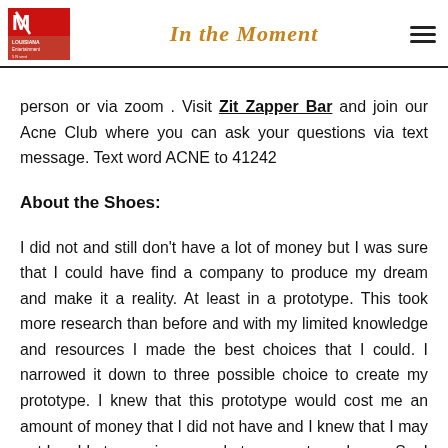In the Moment
person or via zoom . Visit Zit Zapper Bar and join our Acne Club where you can ask your questions via text message. Text word ACNE to 41242
About the Shoes:
I did not and still don't have a lot of money but I was sure that I could have find a company to produce my dream and make it a reality. At least in a prototype. This took more research than before and with my limited knowledge and resources I made the best choices that I could. I narrowed it down to three possible choice to create my prototype. I knew that this prototype would cost me an amount of money that I did not have and I knew that I may not be able to convince people to support my dream. So, I needed away to do it myself if at